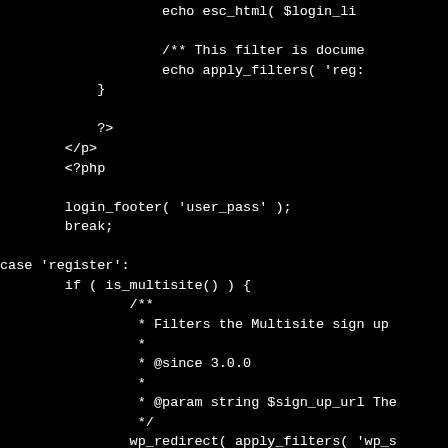[Figure (screenshot): Dark-themed code editor screenshot showing PHP code with WordPress login/register case handling, including filter comments and function calls]